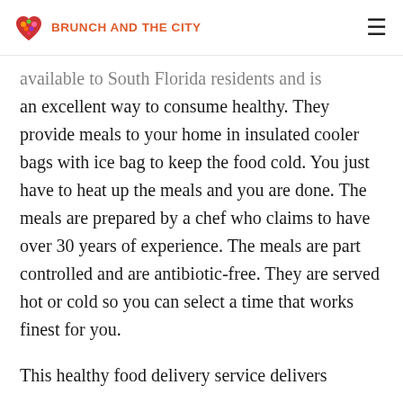BRUNCH AND THE CITY
available to South Florida residents and is an excellent way to consume healthy. They provide meals to your home in insulated cooler bags with ice bag to keep the food cold. You just have to heat up the meals and you are done. The meals are prepared by a chef who claims to have over 30 years of experience. The meals are part controlled and are antibiotic-free. They are served hot or cold so you can select a time that works finest for you.
This healthy food delivery service delivers